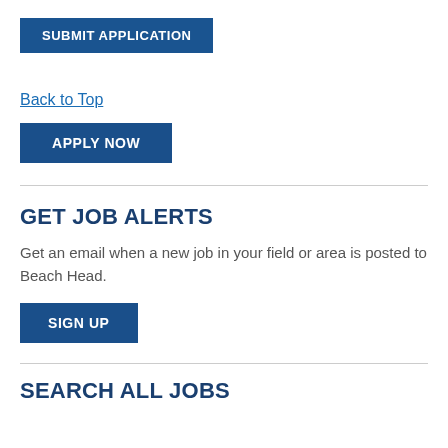SUBMIT APPLICATION
Back to Top
APPLY NOW
GET JOB ALERTS
Get an email when a new job in your field or area is posted to Beach Head.
SIGN UP
SEARCH ALL JOBS